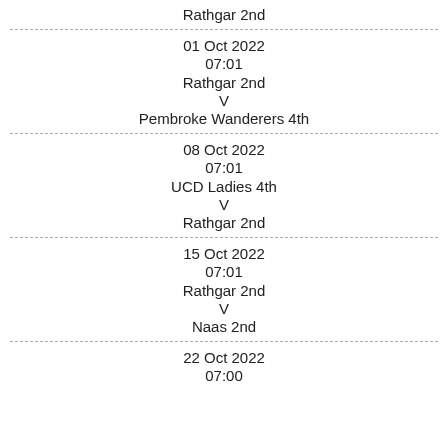Rathgar 2nd
01 Oct 2022
07:01
Rathgar 2nd
V
Pembroke Wanderers 4th
08 Oct 2022
07:01
UCD Ladies 4th
V
Rathgar 2nd
15 Oct 2022
07:01
Rathgar 2nd
V
Naas 2nd
22 Oct 2022
07:00